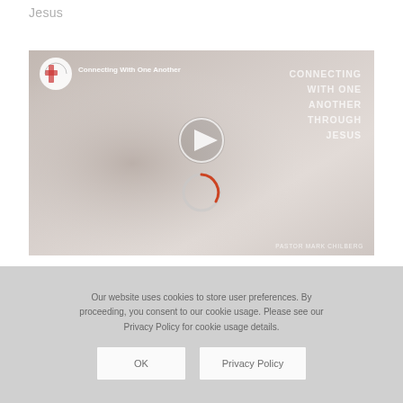Jesus
[Figure (screenshot): YouTube video thumbnail showing a person praying with text overlay 'CONNECTING WITH ONE ANOTHER THROUGH JESUS' and a play button in the center. Channel icon and name 'Connecting With One Another' visible top left. Loading spinner visible. Pastor Mark Chilberg credit bottom right.]
Our website uses cookies to store user preferences. By proceeding, you consent to our cookie usage. Please see our Privacy Policy for cookie usage details.
OK
Privacy Policy